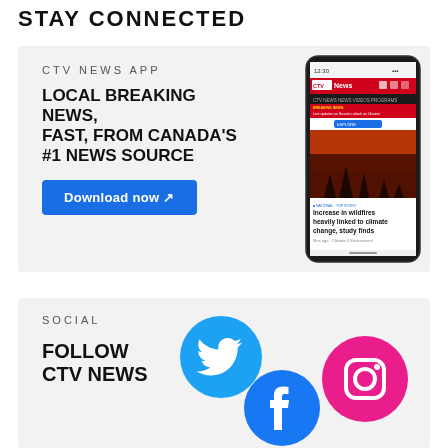STAY CONNECTED
CTV NEWS APP
LOCAL BREAKING NEWS, FAST, FROM CANADA'S #1 NEWS SOURCE
Download now ↗
[Figure (screenshot): Smartphone mockup showing CTV News app with wildfire story headline 'Increase in wildfires heavily linked to climate change, study finds']
SOCIAL
FOLLOW CTV NEWS
[Figure (illustration): Social media icons: Twitter (blue circle), Facebook (blue circle), Instagram (pink/magenta circle)]